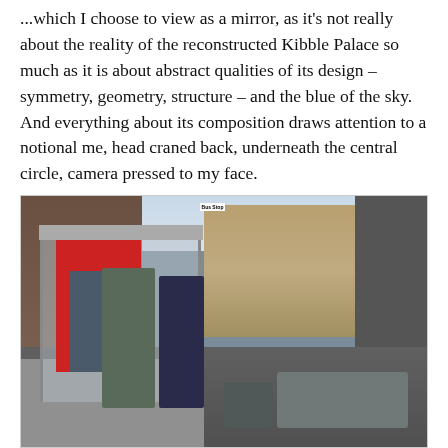...which I choose to view as a mirror, as it's not really about the reality of the reconstructed Kibble Palace so much as it is about abstract qualities of its design – symmetry, geometry, structure – and the blue of the sky. And everything about its composition draws attention to a notional me, head craned back, underneath the central circle, camera pressed to my face.
[Figure (photo): Street scene showing a bus stop shelter in what appears to be Glasgow, Scotland. A person dressed in a green costume is seated at the bus stop while a police officer stands nearby. Pedestrians walk along the pavement in the background. Buildings line the street in the background. A car is parked on the road. A 'Bus Stop' sign is visible.]